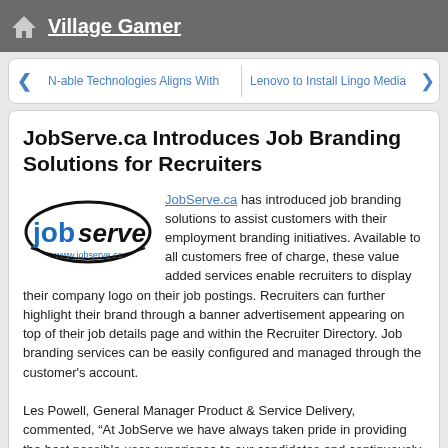Village Gamer
N-able Technologies Aligns With   Lenovo to Install Lingo Media
JobServe.ca Introduces Job Branding Solutions for Recruiters
JobServe.ca has introduced job branding solutions to assist customers with their employment branding initiatives. Available to all customers free of charge, these value added services enable recruiters to display their company logo on their job postings. Recruiters can further highlight their brand through a banner advertisement appearing on top of their job details page and within the Recruiter Directory. Job branding services can be easily configured and managed through the customer's account.
Les Powell, General Manager Product & Service Delivery, commented, “At JobServe we have always taken pride in providing the best possible user experience to our candidates and continuously seeking ways to provide value added services to our customers. Candidates performing job searches on JobServe will now see company logos displayed alongside job postings.